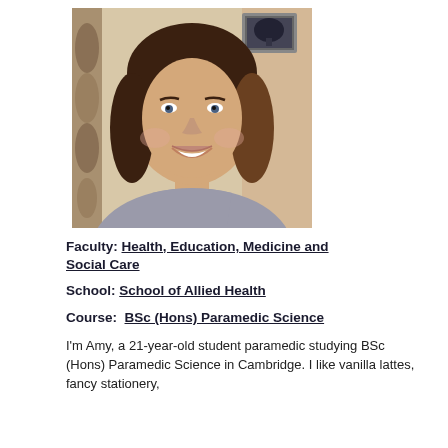[Figure (photo): Headshot photo of a young woman with shoulder-length brown hair, smiling, wearing a grey top, seated indoors with a curtain and framed picture visible in the background.]
Faculty: Health, Education, Medicine and Social Care
School: School of Allied Health
Course: BSc (Hons) Paramedic Science
I'm Amy, a 21-year-old student paramedic studying BSc (Hons) Paramedic Science in Cambridge. I like vanilla lattes, fancy stationery,